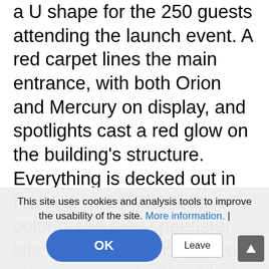a U shape for the 250 guests attending the launch event. A red carpet lines the main entrance, with both Orion and Mercury on display, and spotlights cast a red glow on the building's structure. Everything is decked out in red and white - the team's colors. The new speedster sits encircled by the rows of chairs, covered with a black sheet. Tension and anticipation fill the air: it's taken the 80-member team ten months of hard work to reach this point.
The student association unveiled its latest Formula Student racer on Wednesday evening at the SPOT, EPFL's brand new modular makerspace. After competing in Orion and Mercury, EPFL Racing Team (ERT) will take to the European tracks this summer in a new car.
This site uses cookies and analysis tools to improve the usability of the site. More information. | OK | Leave